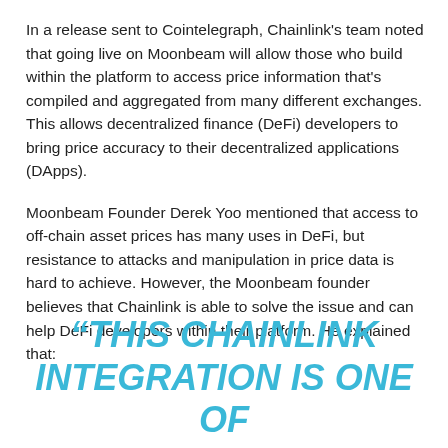In a release sent to Cointelegraph, Chainlink's team noted that going live on Moonbeam will allow those who build within the platform to access price information that's compiled and aggregated from many different exchanges. This allows decentralized finance (DeFi) developers to bring price accuracy to their decentralized applications (DApps).
Moonbeam Founder Derek Yoo mentioned that access to off-chain asset prices has many uses in DeFi, but resistance to attacks and manipulation in price data is hard to achieve. However, the Moonbeam founder believes that Chainlink is able to solve the issue and can help DeFi developers within their platform. He explained that:
“THIS CHAINLINK INTEGRATION IS ONE OF